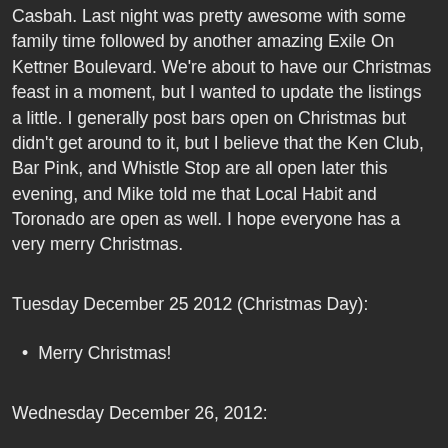Casbah. Last night was pretty awesome with some family time followed by another amazing Exile On Kettner Boulevard. We're about to have our Christmas feast in a moment, but I wanted to update the listings a little. I generally post bars open on Christmas but didn't get around to it, but I believe that the Ken Club, Bar Pink, and Whistle Stop are all open later this evening, and Mike told me that Local Habit and Toronado are open as well. I hope everyone has a very merry Christmas.
Tuesday December 25 2012 (Christmas Day):
Merry Christmas!
Wednesday December 26, 2012:
Turquoise Jeep, Tha Maad Tray @ Casbah
San Pedro El Cortez, Sixties Guns, Legs @ Soda Bar